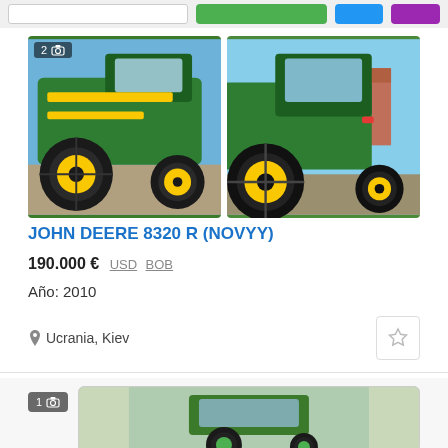Search bar and navigation buttons
[Figure (photo): John Deere 8320R green tractor with yellow rims, side view, two images side by side]
JOHN DEERE 8320 R (NOVYY)
190.000 € USD BOB
Año: 2010
Ucrania, Kiev
[Figure (photo): Second listing: green tractor partial view, badge showing 1 photo]